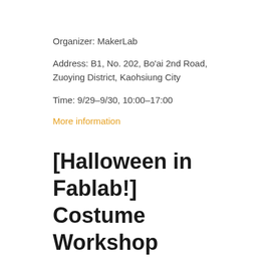Organizer: MakerLab
Address: B1, No. 202, Bo'ai 2nd Road, Zuoying District, Kaohsiung City
Time: 9/29–9/30, 10:00–17:00
More information
[Halloween in Fablab!] Costume Workshop